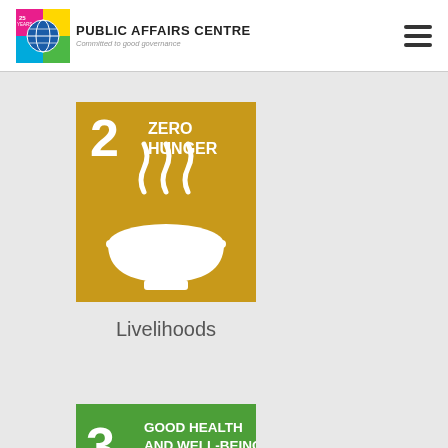PUBLIC AFFAIRS CENTRE — Committed to good governance
[Figure (logo): Public Affairs Centre logo with colourful globe icon and 25 years badge]
[Figure (illustration): SDG Goal 2 Zero Hunger icon — gold square with number 2, text ZERO HUNGER, and white bowl with steam lines]
Livelihoods
[Figure (illustration): SDG Goal 3 Good Health and Well-Being icon — green square with number 3 and text GOOD HEALTH AND WELL-BEING]